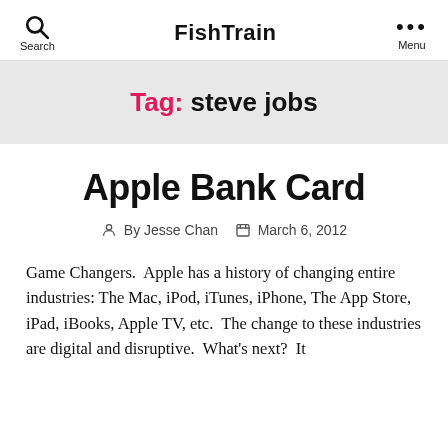FishTrain
Tag: steve jobs
Apple Bank Card
By Jesse Chan   March 6, 2012
Game Changers.  Apple has a history of changing entire industries: The Mac, iPod, iTunes, iPhone, The App Store, iPad, iBooks, Apple TV, etc.  The change to these industries are digital and disruptive.  What's next?  It